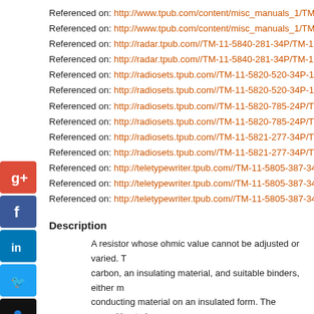Referenced on: http://www.tpub.com/content/misc_manuals_1/TM-...
Referenced on: http://www.tpub.com/content/misc_manuals_1/TM-...
Referenced on: http://radar.tpub.com//TM-11-5840-281-34P/TM-11...
Referenced on: http://radar.tpub.com//TM-11-5840-281-34P/TM-11...
Referenced on: http://radiosets.tpub.com//TM-11-5820-520-34P-1/T...
Referenced on: http://radiosets.tpub.com//TM-11-5820-520-34P-1/T...
Referenced on: http://radiosets.tpub.com//TM-11-5820-785-24P/TM...
Referenced on: http://radiosets.tpub.com//TM-11-5820-785-24P/TM...
Referenced on: http://radiosets.tpub.com//TM-11-5821-277-34P/TM...
Referenced on: http://radiosets.tpub.com//TM-11-5821-277-34P/TM...
Referenced on: http://teletypewriter.tpub.com//TM-11-5805-387-34P...
Referenced on: http://teletypewriter.tpub.com//TM-11-5805-387-34P...
Referenced on: http://teletypewriter.tpub.com//TM-11-5805-387-34P...
Description
A resistor whose ohmic value cannot be adjusted or varied. The carbon, an insulating material, and suitable binders, either m... conducting material on an insulated form. The opposition to ... materials used and is manifest by the heat dissipation in the... RESISTOR, FIXED, FILM; and RESISTOR, THERMAL, Exc...